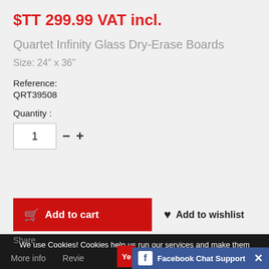$TT 299.99 VAT incl.
Quartet Infinity Glass Dry-Erase Boards
Size: 24" x 36"
Reference:
QRT39508
Quantity : 1
Add to cart
Add to wishlist
We use Cookies! Cookies help us run our services and make them more tasty, so you get a better experience.
For the full ingredients please read our Cookies Policy. How do I change my Cookies settings?
More info   Reviews   Facebook Chat Support